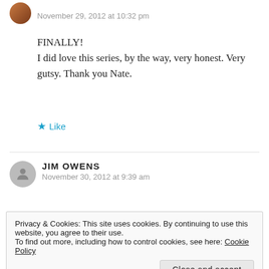November 29, 2012 at 10:32 pm
FINALLY!
I did love this series, by the way, very honest. Very gutsy. Thank you Nate.
★ Like
JIM OWENS
November 30, 2012 at 9:39 am
Privacy & Cookies: This site uses cookies. By continuing to use this website, you agree to their use.
To find out more, including how to control cookies, see here: Cookie Policy
Close and accept
itself. It is obvious from many of the comments